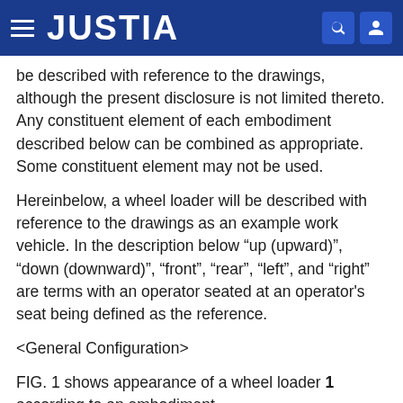JUSTIA
be described with reference to the drawings, although the present disclosure is not limited thereto. Any constituent element of each embodiment described below can be combined as appropriate. Some constituent element may not be used.
Hereinbelow, a wheel loader will be described with reference to the drawings as an example work vehicle. In the description below “up (upward)”, “down (downward)”, “front”, “rear”, “left”, and “right” are terms with an operator seated at an operator's seat being defined as the reference.
<General Configuration>
FIG. 1 shows appearance of a wheel loader 1 according to an embodiment.
As shown in FIG. 1, the wheel loader 1 includes a